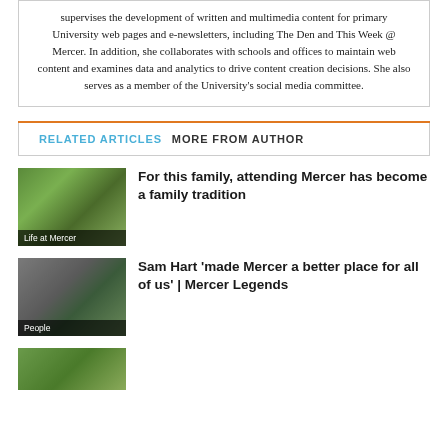supervises the development of written and multimedia content for primary University web pages and e-newsletters, including The Den and This Week @ Mercer. In addition, she collaborates with schools and offices to maintain web content and examines data and analytics to drive content creation decisions. She also serves as a member of the University's social media committee.
RELATED ARTICLES   MORE FROM AUTHOR
[Figure (photo): Group family photo outdoors with trees in background, labeled 'Life at Mercer']
For this family, attending Mercer has become a family tradition
[Figure (photo): Photo of Sam Hart, labeled 'People']
Sam Hart 'made Mercer a better place for all of us' | Mercer Legends
[Figure (photo): Outdoor photo partially visible at bottom of page]